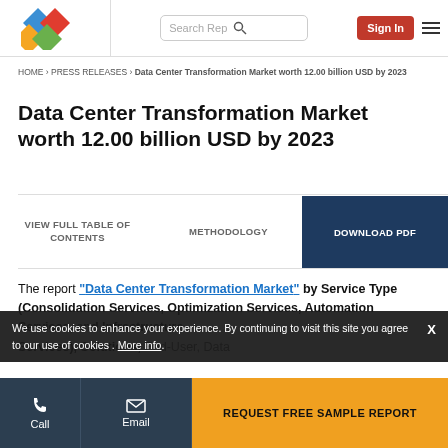Logo | Search Rep [search icon] | Sign In | [menu]
HOME › PRESS RELEASES › Data Center Transformation Market worth 12.00 billion USD by 2023
Data Center Transformation Market worth 12.00 billion USD by 2023
VIEW FULL TABLE OF CONTENTS | METHODOLOGY | DOWNLOAD PDF
The report "Data Center Transformation Market by Service Type (Consolidation Services, Optimization Services, Automation Services, and Infrastructure Services), Solutions, End-User, Data
We use cookies to enhance your experience. By continuing to visit this site you agree to our use of cookies . More info.  X
Call | Email | REQUEST FREE SAMPLE REPORT